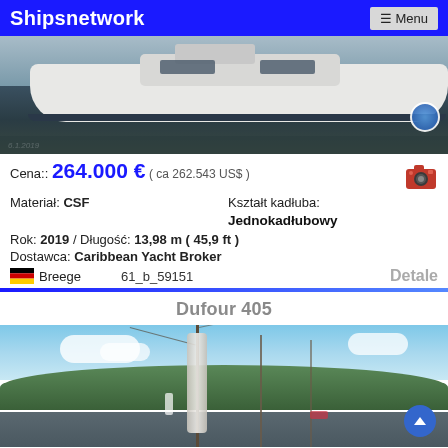Shipsnetwork  ☰ Menu
[Figure (photo): Sailboat hull photographed from dock level with water in background]
Cena:: 264.000 € ( ca 262.543 US$ )
Materiał: CSF    Kształt kadłuba: Jednokadłubowy
Rok: 2019 / Długość: 13,98 m ( 45,9 ft )
Dostawca: Caribbean Yacht Broker
🇩🇪 Breege    61_b_59151    Detale
Dufour 405
[Figure (photo): Sailboat in marina with masts and rigging visible, green hills in background]